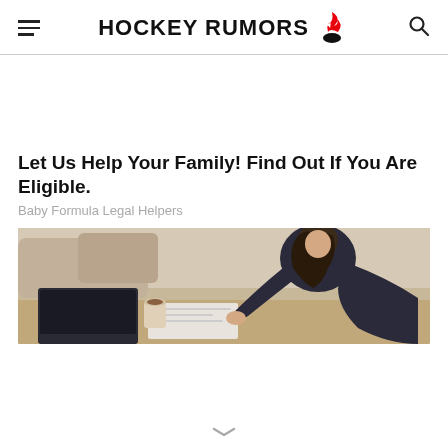HOCKEY RUMORS
Let Us Help Your Family! Find Out If You Are Eligible.
Baby Formula Legal Helpers
[Figure (photo): A woman in a dark jacket sitting at a desk, looking down and writing or reading documents, with a coffee cup and papers visible on the desk.]